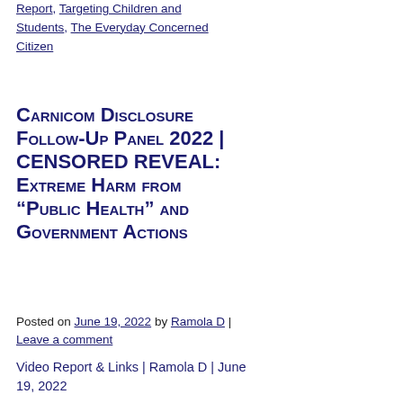Report, Targeting Children and Students, The Everyday Concerned Citizen
Carnicom Disclosure Follow-Up Panel 2022 | CENSORED REVEAL: Extreme Harm from “Public Health” and Government Actions
Posted on June 19, 2022 by Ramola D | Leave a comment
Video Report & Links | Ramola D | June 19, 2022